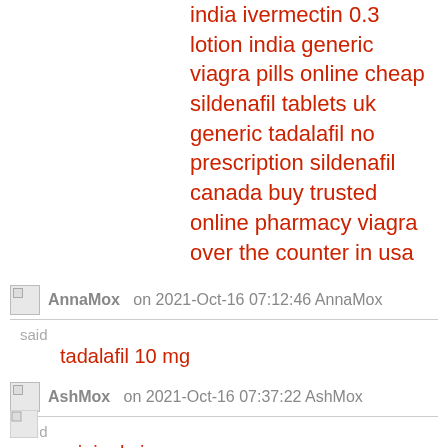india ivermectin 0.3 lotion india generic viagra pills online cheap sildenafil tablets uk generic tadalafil no prescription sildenafil canada buy trusted online pharmacy viagra over the counter in usa
[AnnaMox avatar] on 2021-Oct-16 07:12:46 AnnaMox
said
tadalafil 10 mg
[AshMox avatar] on 2021-Oct-16 07:37:22 AshMox
said
original viagra
[JackMox avatar] on 2021-Oct-16 11:17:40 JackMox
said
cialis canada no prescription